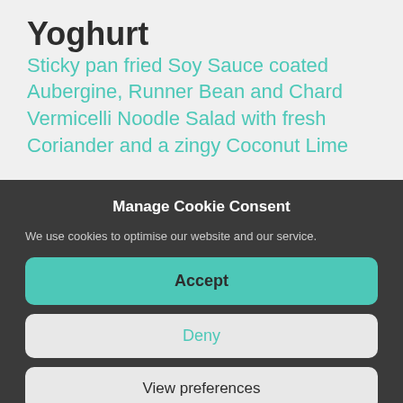Yoghurt
Sticky pan fried Soy Sauce coated Aubergine, Runner Bean and Chard Vermicelli Noodle Salad with fresh Coriander and a zingy Coconut Lime
Manage Cookie Consent
We use cookies to optimise our website and our service.
Accept
Deny
View preferences